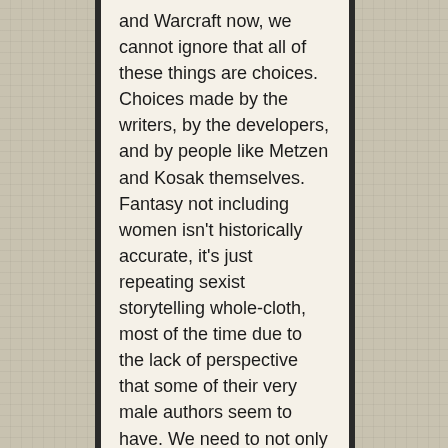and Warcraft now, we cannot ignore that all of these things are choices. Choices made by the writers, by the developers, and by people like Metzen and Kosak themselves. Fantasy not including women isn't historically accurate, it's just repeating sexist storytelling whole-cloth, most of the time due to the lack of perspective that some of their very male authors seem to have. We need to not only look forward to the work of the women who undoubtedly comprise